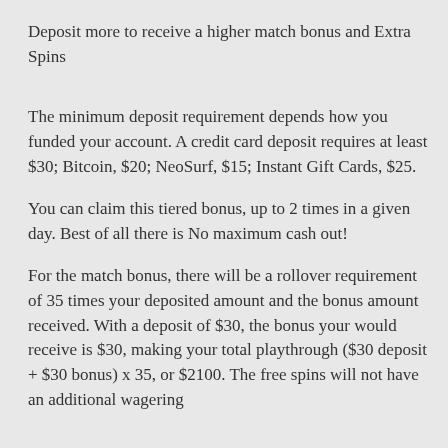Deposit more to receive a higher match bonus and Extra Spins
The minimum deposit requirement depends how you funded your account. A credit card deposit requires at least $30; Bitcoin, $20; NeoSurf, $15; Instant Gift Cards, $25.
You can claim this tiered bonus, up to 2 times in a given day. Best of all there is No maximum cash out!
For the match bonus, there will be a rollover requirement of 35 times your deposited amount and the bonus amount received. With a deposit of $30, the bonus your would receive is $30, making your total playthrough ($30 deposit + $30 bonus) x 35, or $2100. The free spins will not have an additional wagering